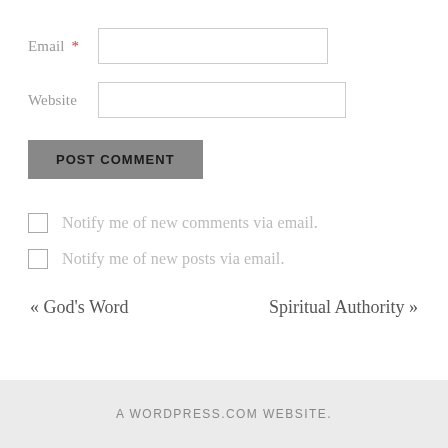Email *
Website
POST COMMENT
Notify me of new comments via email.
Notify me of new posts via email.
« God's Word
Spiritual Authority »
A WORDPRESS.COM WEBSITE.